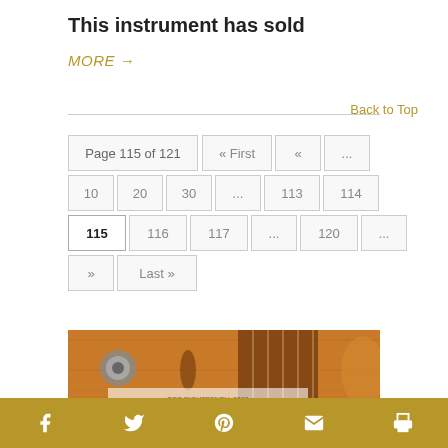This instrument has sold
MORE →
Back to Top
Page 115 of 121  « First  «  ...  |  10  20  30  ...  113  114  |  115  116  117  ...  120  ...  |  »  Last »
[Figure (photo): Close-up photo of an orange/amber archtop guitar body showing the f-hole, fretboard, and body with partial white overlay text at bottom]
Social share icons: Facebook, Twitter, Pinterest, Email, Print